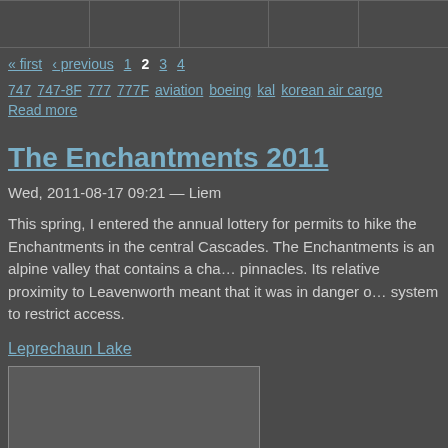[Figure (other): Top table row with empty cells separated by borders]
« first  ‹ previous  1  2  3  4
747  747-8F  777  777F  aviation  boeing  kal  korean air cargo
Read more
The Enchantments 2011
Wed, 2011-08-17 09:21 — Liem
This spring, I entered the annual lottery for permits to hike the Enchantments in the central Cascades. The Enchantments is an alpine valley that contains a chain of pinnacles. Its relative proximity to Leavenworth meant that it was in danger of system to restrict access.
Leprechaun Lake
[Figure (photo): Image placeholder - dark rectangle]
« first  ‹ previous  1  2  3
Read more